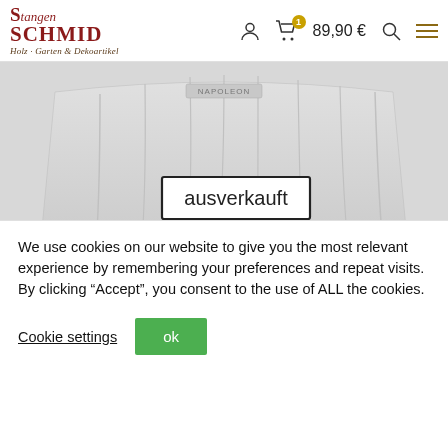[Figure (logo): Stangen Schmid logo - Holz, Garten & Dekoartikel]
[Figure (screenshot): Napoleon grill cover product image in light grey, showing a large grill cover. An 'ausverkauft' (sold out) label is displayed in a black-bordered rectangle in the center. The Napoleon brand mark is visible at the top.]
Napoleon Abdeckhaube Pro 665
We use cookies on our website to give you the most relevant experience by remembering your preferences and repeat visits. By clicking “Accept”, you consent to the use of ALL the cookies.
Cookie settings
ok